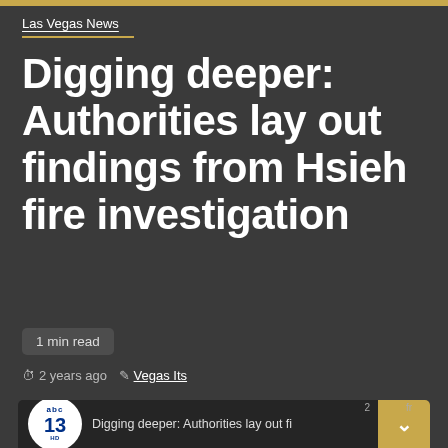Las Vegas News
Digging deeper: Authorities lay out findings from Hsieh fire investigation
1 min read
2 years ago  Vegas Its
[Figure (screenshot): Video thumbnail showing ABC 13 HD news logo and video title: Digging deeper: Authorities lay out fi...s fr with a yellow scroll-up button overlay]